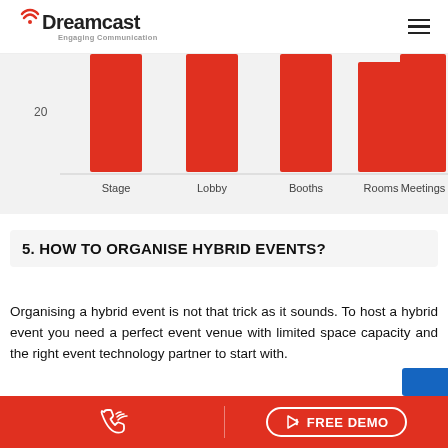Dreamcast — Engaging Communication
[Figure (bar-chart): Virtual Event Spaces]
5. HOW TO ORGANISE HYBRID EVENTS?
Organising a hybrid event is not that trick as it sounds. To host a hybrid event you need a perfect event venue with limited space capacity and the right event technology partner to start with.
Same as other event formats, you need to pl…